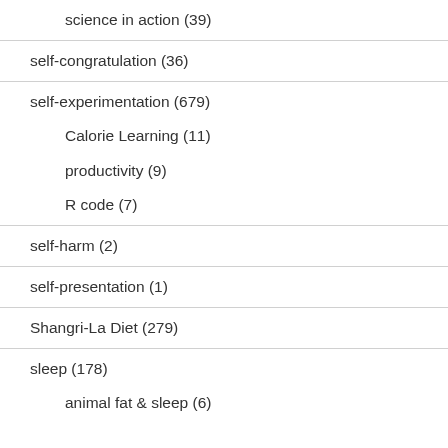science in action (39)
self-congratulation (36)
self-experimentation (679)
Calorie Learning (11)
productivity (9)
R code (7)
self-harm (2)
self-presentation (1)
Shangri-La Diet (279)
sleep (178)
animal fat & sleep (6)